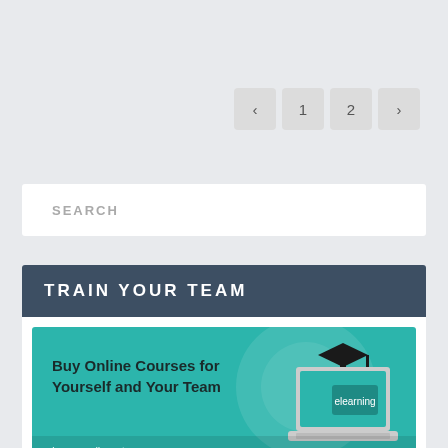< 1 2 >
SEARCH
TRAIN YOUR TEAM
[Figure (illustration): Teal banner with laptop showing 'elearning' on screen with graduation cap, text: Buy Online Courses for Yourself and Your Team. Learn online at your own pace. Bulk discounts for team bookings.]